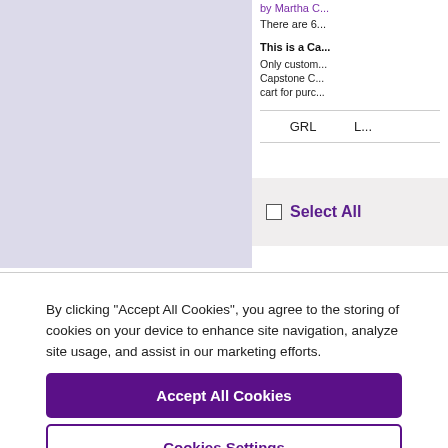[Figure (illustration): Light purple/lavender book cover placeholder image]
by Martha C...
There are 6...
This is a Capstone Classroom title. Only customers who have purchased Capstone Classroom can add this item to cart for purchase.
| GRL | L |
| --- | --- |
Select All
By clicking “Accept All Cookies”, you agree to the storing of cookies on your device to enhance site navigation, analyze site usage, and assist in our marketing efforts.
Accept All Cookies
Cookies Settings